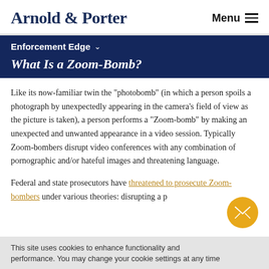Arnold & Porter    Menu
Enforcement Edge
What Is a Zoom-Bomb?
Like its now-familiar twin the "photobomb" (in which a person spoils a photograph by unexpectedly appearing in the camera's field of view as the picture is taken), a person performs a "Zoom-bomb" by making an unexpected and unwanted appearance in a video session. Typically Zoom-bombers disrupt video conferences with any combination of pornographic and/or hateful images and threatening language.
Federal and state prosecutors have threatened to prosecute Zoom-bombers under various theories: disrupting a p…
This site uses cookies to enhance functionality and performance. You may change your cookie settings at any time